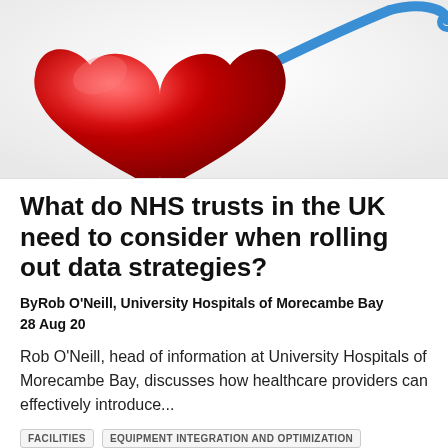[Figure (photo): A red glossy heart shape with a blue USB cable plugged into it, and a blue stethoscope cord extending to the upper right, on a white background.]
What do NHS trusts in the UK need to consider when rolling out data strategies?
ByRob O'Neill, University Hospitals of Morecambe Bay
28 Aug 20
Rob O'Neill, head of information at University Hospitals of Morecambe Bay, discusses how healthcare providers can effectively introduce...
FACILITIES   EQUIPMENT INTEGRATION AND OPTIMIZATION